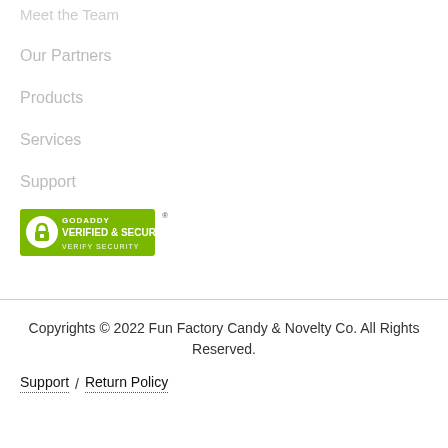Meet the Team
Our Partners
Products
Services
Support
[Figure (logo): GoDaddy Verified & Secured badge with lock icon and 'Verify Security' text]
Copyrights © 2022 Fun Factory Candy & Novelty Co. All Rights Reserved.
Support  /  Return Policy